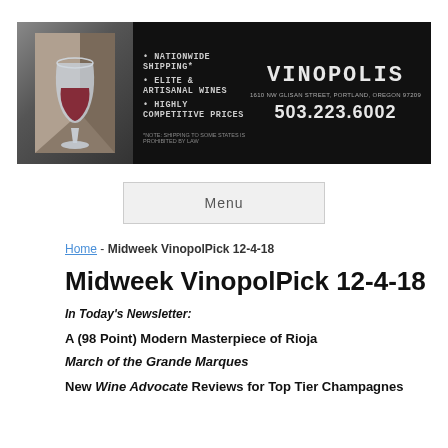[Figure (logo): Vinopolis wine store advertisement banner with wine glass image, bullet points about nationwide shipping, elite & artisanal wines, highly competitive prices, and contact info: 1610 NW Glisan Street Portland Oregon 97209, 503.223.6002]
Menu
Home - Midweek VinopolPick 12-4-18
Midweek VinopolPick 12-4-18
In Today's Newsletter:
A (98 Point) Modern Masterpiece of Rioja
March of the Grande Marques
New Wine Advocate Reviews for Top Tier Champagnes